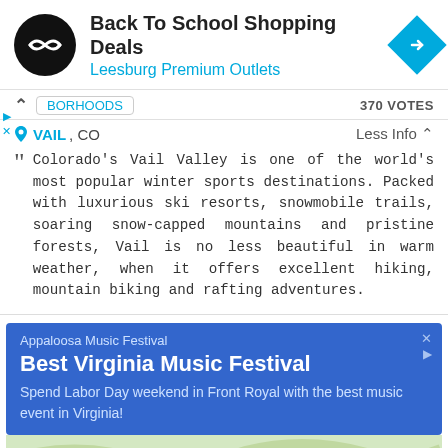[Figure (screenshot): Ad banner: Back To School Shopping Deals at Leesburg Premium Outlets with logo and navigation arrow icon]
NEIGHBORHOODS   370 VOTES
VAIL, CO   Less Info ^
Colorado's Vail Valley is one of the world's most popular winter sports destinations. Packed with luxurious ski resorts, snowmobile trails, soaring snow-capped mountains and pristine forests, Vail is no less beautiful in warm weather, when it offers excellent hiking, mountain biking and rafting adventures.
[Figure (screenshot): Ad banner: Appaloosa Music Festival - Best Virginia Music Festival. Spend Labor Day weekend in Front Royal with the best music event in Virginia!]
[Figure (map): Partial map thumbnail at bottom of page]